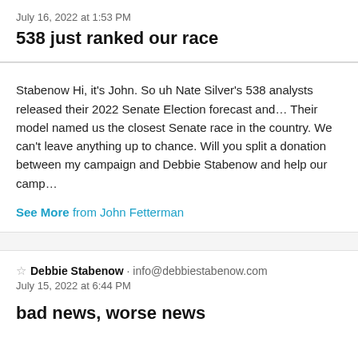July 16, 2022 at 1:53 PM
538 just ranked our race
Stabenow Hi, it's John. So uh Nate Silver's 538 analysts released their 2022 Senate Election forecast and… Their model named us the closest Senate race in the country. We can't leave anything up to chance. Will you split a donation between my campaign and Debbie Stabenow and help our camp…
See More from John Fetterman
☆ Debbie Stabenow · info@debbiestabenow.com
July 15, 2022 at 6:44 PM
bad news, worse news